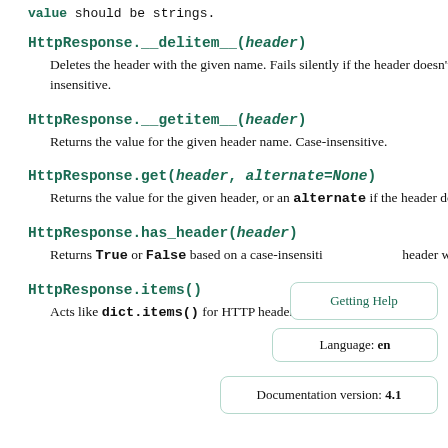value should be strings.
HttpResponse.__delitem__(header)
Deletes the header with the given name. Fails silently if the header doesn’t exist. Case-insensitive.
HttpResponse.__getitem__(header)
Returns the value for the given header name. Case-insensitive.
HttpResponse.get(header, alternate=None)
Returns the value for the given header, or an alternate if the header doesn’t exist.
HttpResponse.has_header(header)
Returns True or False based on a case-insensitive check for a header with the given name.
HttpResponse.items()
Acts like dict.items() for HTTP headers on the response.
Getting Help
Language: en
Documentation version: 4.1